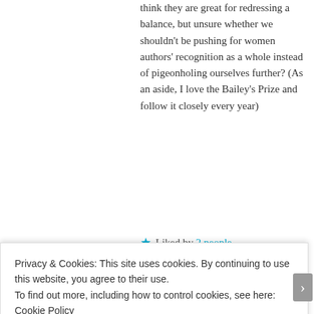think they are great for redressing a balance, but unsure whether we shouldn't be pushing for women authors' recognition as a whole instead of pigeonholing ourselves further? (As an aside, I love the Bailey's Prize and follow it closely every year)
★ Liked by 2 people
LOG IN TO REPLY
[Figure (other): Advertisement banner: dark blue background with text 'Create surveys, polls, quizzes, and forms.' with WordPress logo and Crowdsignal logo]
REPORT THIS AD
alisonewilliams said: April 11, 2016 at 11:15 am
Privacy & Cookies: This site uses cookies. By continuing to use this website, you agree to their use.
To find out more, including how to control cookies, see here: Cookie Policy
Close and accept